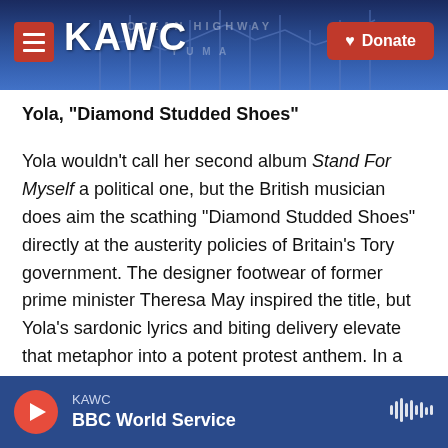[Figure (photo): KAWC radio station website header with roller coaster/amusement park silhouette in background, KAWC logo in white bold text, red hamburger menu button on left, red Donate button with heart icon on right]
Yola, "Diamond Studded Shoes"
Yola wouldn't call her second album Stand For Myself a political one, but the British musician does aim the scathing "Diamond Studded Shoes" directly at the austerity policies of Britain's Tory government. The designer footwear of former prime minister Theresa May inspired the title, but Yola's sardonic lyrics and biting delivery elevate that metaphor into a potent protest anthem. In a 2021 FUV Live session filmed in Nashville, with Yola on acoustic guitar and Ray Jacildo on keys, she brings
KAWC  BBC World Service